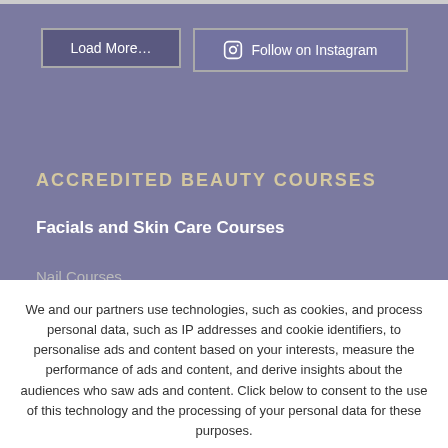[Figure (screenshot): Top border/divider line at the top of the page]
Load More…
Follow on Instagram
ACCREDITED BEAUTY COURSES
Facials and Skin Care Courses
Nail Courses
Body Treatment Courses
Waxing Courses
Makeup Courses
Part Time Beauty Courses
NVQ Level 2 Beauty Therapy Diploma
We and our partners use technologies, such as cookies, and process personal data, such as IP addresses and cookie identifiers, to personalise ads and content based on your interests, measure the performance of ads and content, and derive insights about the audiences who saw ads and content. Click below to consent to the use of this technology and the processing of your personal data for these purposes.
OK
Learn more